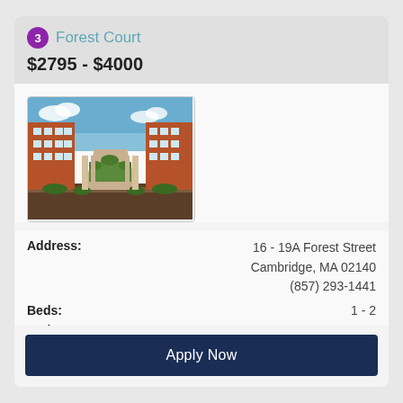3 Forest Court
$2795 - $4000
[Figure (photo): Exterior photo of Forest Court apartment complex showing brick buildings surrounding a courtyard with landscaping]
| Field | Value |
| --- | --- |
| Address: | 16 - 19A Forest Street
Cambridge, MA 02140
(857) 293-1441 |
| Beds: | 1 - 2 |
| Baths: | 1 |
| : | 535 - 870 |
| Type: |  |
Apply Now